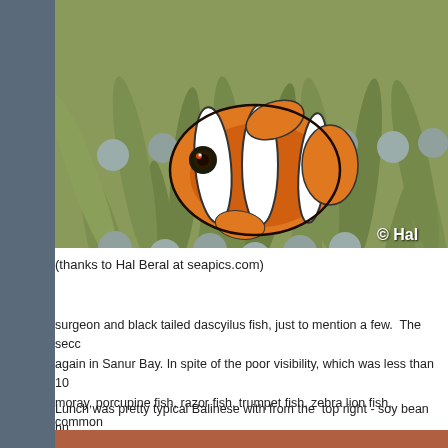[Figure (photo): Close-up photo of a clownfish (orange with white stripes) among green sea anemone tentacles, with a watermark '© Hal' in the bottom right corner.]
(thanks to Hal Beral at seapics.com)
surgeon and black tailed dascyilus fish, just to mention a few.  The second dive was again in Sanur Bay. In spite of the poor visibility, which was less than 10... moray, porcupine fish, razor fish, trumpet fish, zebra lion fish, common ... cool! I felt really comfortable - finally!
Lunch was pretty typical Balinese with from the  top right - soy bean nu... and a chicken leg, greens with bean sprouts, half a boiled egg and sna...
[Figure (photo): Partial view of what appears to be a Balinese food dish or table setting, cut off at the bottom of the page.]